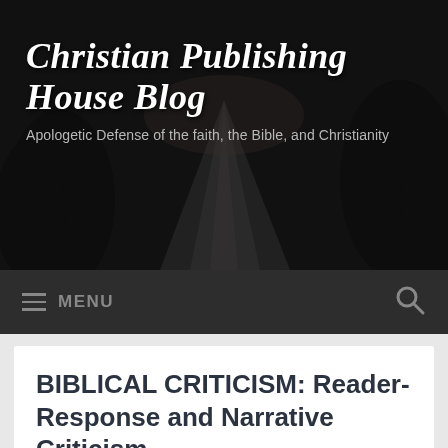Christian Publishing House Blog
Apologetic Defense of the faith, the Bible, and Christianity
BIBLICAL CRITICISM: Reader-Response and Narrative Criticism
[Figure (photo): Close-up of red and black text on an open Bible page, showing partial words 'For God', 'perish', 'be']